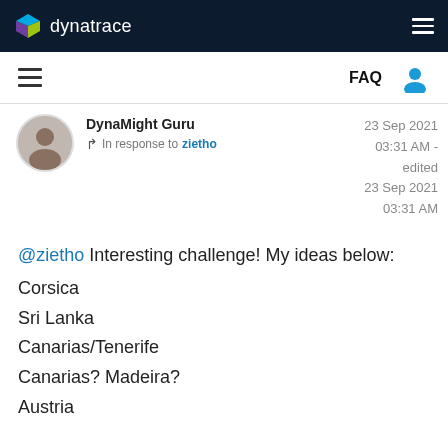dynatrace — navigation bar with logo and hamburger menu
FAQ — secondary navigation bar
DynaMight Guru — In response to zietho — 23 Sep 2021 03:31 AM - edited 23 Sep 2021 03:31 AM
@zietho Interesting challenge! My ideas below:
Corsica
Sri Lanka
Canarias/Tenerife
Canarias? Madeira?
Austria